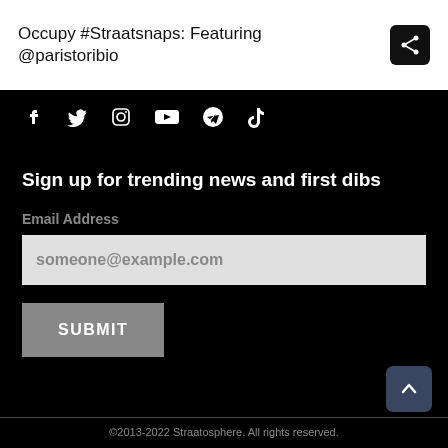Occupy #Straatsnaps: Featuring @paristoribio
[Figure (other): Social media share button icon (black square with share symbol)]
[Figure (other): Social media icons row: Facebook, Twitter, Instagram, YouTube, Telegram, TikTok]
Sign up for trending news and first dibs
Email Address
someone@example.com
SUBMIT
©2013-2022 Straatosphere. All rights reserved.